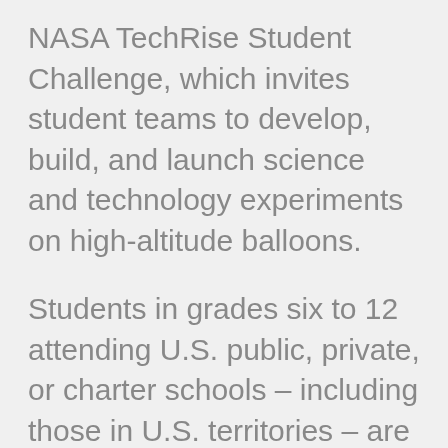NASA TechRise Student Challenge, which invites student teams to develop, build, and launch science and technology experiments on high-altitude balloons.
Students in grades six to 12 attending U.S. public, private, or charter schools – including those in U.S. territories – are challenged to team up with their schoolmates to design an experiment under the guidance of an educator. Administered by Future Engineers, the NASA TechRise Student